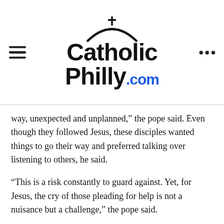CatholicPhilly.com
way, unexpected and unplanned,” the pope said. Even though they followed Jesus, these disciples wanted things to go their way and preferred talking over listening to others, he said.
“This is a risk constantly to guard against. Yet, for Jesus, the cry of those pleading for help is not a nuisance but a challenge,” the pope said.
Jesus goes to Bartimaeus and lets him speak, taking the time to listen, Pope Francis said. “This is the first step in helping the journey of faith: listening. It is the apostolate of the ear: listening before speaking.”
The next step in the journey of faith, the pope said, is to be a neighbor and do what is needed, without delegating the duty to